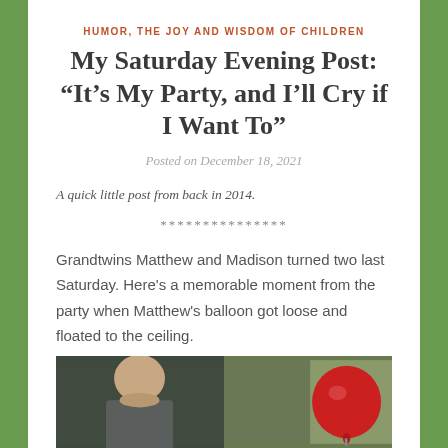HUMOR, THE JOY AND WISDOM OF CHILDREN
My Saturday Evening Post: “It’s My Party, and I’ll Cry if I Want To”
Posted on December 18, 2021
A quick little post from back in 2014.
***************
Grandtwins Matthew and Madison turned two last Saturday. Here's a memorable moment from the party when Matthew's balloon got loose and floated to the ceiling.
[Figure (photo): Two-panel photo: left panel shows a man's face, right panel shows a red balloon against a green/colorful background]